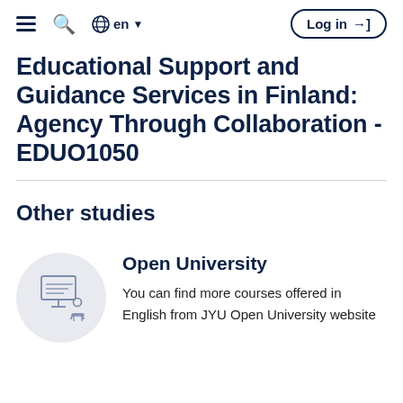≡  🔍  🌐 en ▾  Log in →
Educational Support and Guidance Services in Finland: Agency Through Collaboration - EDUO1050
Other studies
[Figure (illustration): Circular icon with light grey background showing a person seated at a desk in front of a presentation board/screen, line art style in dark blue/grey.]
Open University
You can find more courses offered in English from JYU Open University website